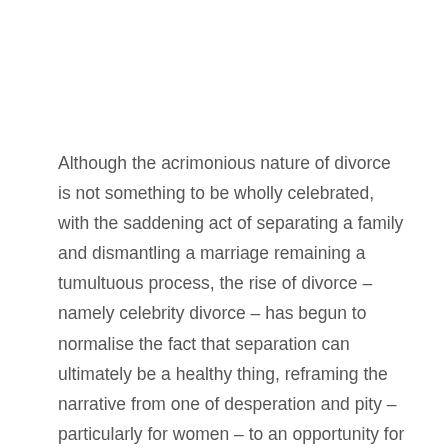Although the acrimonious nature of divorce is not something to be wholly celebrated, with the saddening act of separating a family and dismantling a marriage remaining a tumultuous process, the rise of divorce – namely celebrity divorce – has begun to normalise the fact that separation can ultimately be a healthy thing, reframing the narrative from one of desperation and pity – particularly for women – to an opportunity for healing, growth, and reinvention.
This "Big Divorce Energy" made a resurgence in 2021, due to the arrival of celebrity divorces from the public in...